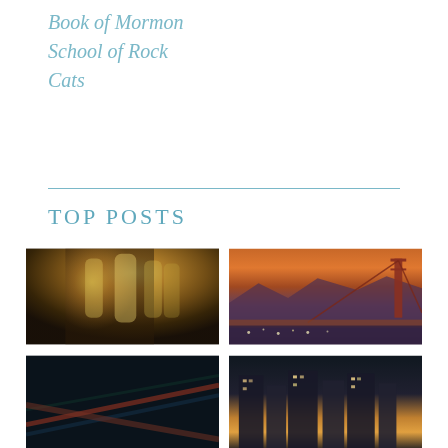Book of Mormon
School of Rock
Cats
TOP POSTS
[Figure (photo): Close-up of champagne flutes filled with golden champagne in a dimly lit bar setting]
[Figure (photo): Golden Gate Bridge at dusk/sunset with orange sky and city lights below]
[Figure (photo): Dark abstract image showing colorful cables or wires in teal and red tones]
[Figure (photo): City skyline at night with illuminated buildings and warm orange glow]